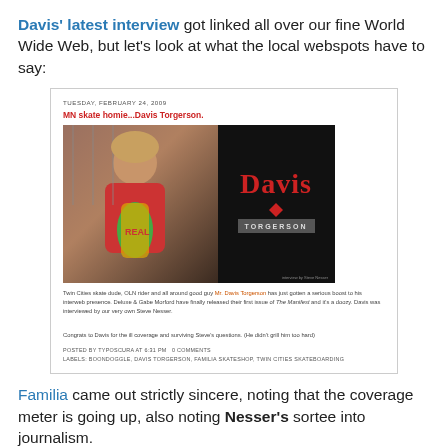Davis' latest interview got linked all over our fine World Wide Web, but let's look at what the local webspots have to say:
[Figure (screenshot): Screenshot of a blog post from Tuesday, February 24, 2009 titled 'MN skate homie...Davis Torgerson.' with a photo of Davis Torgerson holding a skateboard and a Davis Torgerson logo image. Blog text mentions Twin Cities skate dude, OLN rider, Mr. Davis Torgerson, Deluxe & Gabe Morford, The Manifest, and Steve Nesser. Posted by TYPOSCURA at 6:31 PM, 0 comments. Labels: BOONDOGGLE, DAVIS TORGERSON, FAMILIA SKATESHOP, TWIN CITIES SKATEBOARDING.]
Familia came out strictly sincere, noting that the coverage meter is going up, also noting Nesser's sortee into journalism.